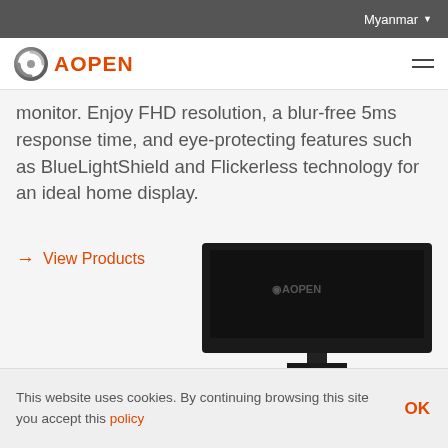Myanmar
[Figure (logo): AOPEN logo with circular metallic icon and orange AOPEN text]
monitor. Enjoy FHD resolution, a blur-free 5ms response time, and eye-protecting features such as BlueLightShield and Flickerless technology for an ideal home display.
→ View Products
[Figure (photo): AOPEN monitor shown from slightly above angle, dark bezel, on dark background, partial view]
This website uses cookies. By continuing browsing this site you accept this policy